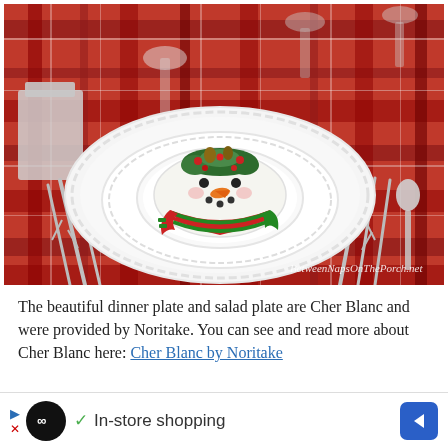[Figure (photo): A holiday table setting with a snowman salad plate on top of stacked white Cher Blanc dinner plates by Noritake, on a red tartan plaid tablecloth. Silver twig-handle flatware flanks the plates. Wine glasses and silverware are visible in the background. Watermark reads 'BetweenNapsOnThePorch.net'.]
The beautiful dinner plate and salad plate are Cher Blanc and were provided by Noritake. You can see and read more about Cher Blanc here: Cher Blanc by Noritake
▶ ∞  ✓ In-store shopping